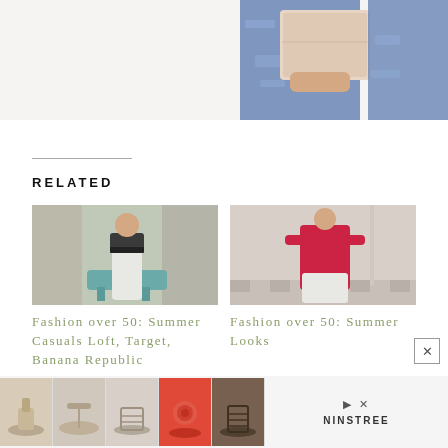[Figure (photo): Partial photo of a person holding a light pink/beige clutch bag, wearing distressed blue jeans, cropped at top of page]
RELATED
[Figure (photo): Fashion photo: woman wearing white wide-leg pants and dark top, standing in a bedroom setting]
[Figure (photo): Fashion photo: woman in red long tunic top and white pants, standing on staircase]
Fashion over 50: Summer Casuals Loft, Target, Banana Republic
Fashion over 50: Summer Looks
[Figure (photo): Advertisement banner showing 5 shoe images (sandals/heels in various styles and colors) with Ninstree branding and close/skip icons]